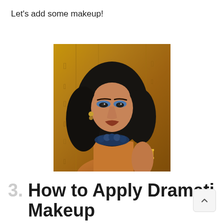Let's add some makeup!
[Figure (photo): Woman dressed in Egyptian Cleopatra-style costume with blue eye makeup, curly black hair, gold jewelry and armband, posing against a gold hieroglyphic wall background.]
3. How to Apply Dramatic Makeup